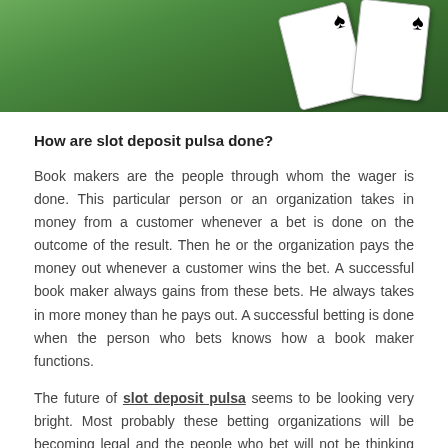[Figure (photo): Photo of playing cards on a green felt surface, showing card faces with spade suit symbols]
How are slot deposit pulsa done?
Book makers are the people through whom the wager is done. This particular person or an organization takes in money from a customer whenever a bet is done on the outcome of the result. Then he or the organization pays the money out whenever a customer wins the bet. A successful book maker always gains from these bets. He always takes in more money than he pays out. A successful betting is done when the person who bets knows how a book maker functions.
The future of slot deposit pulsa seems to be looking very bright. Most probably these betting organizations will be becoming legal and the people who bet will not be thinking that they are doing anything wrong.